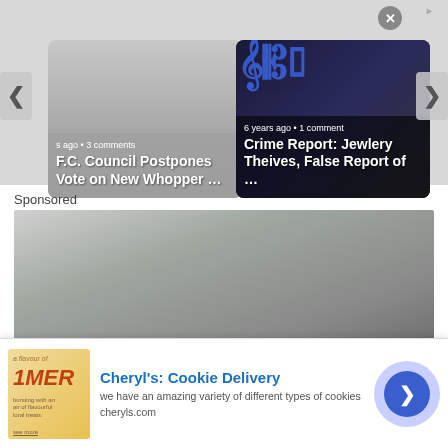[Figure (screenshot): News article carousel card left: 'F.C. Council Postpones Vote on New Whopper ...' with timestamp 's ago · 3 comments']
[Figure (screenshot): News article carousel card right: 'Crime Report: Jewlery Theives, False Report of ...' with timestamp '6 years ago · 1 comment', newspaper masthead background]
Sponsored
[Figure (photo): Sponsored ad area showing a person in military camouflage uniform smiling, with infolinks badge in lower left corner]
[Figure (screenshot): Banner advertisement: Cheryl's: Cookie Delivery - 'we have an amazing variety of different types of cookies' - cheryls.com, with close button and forward arrow]